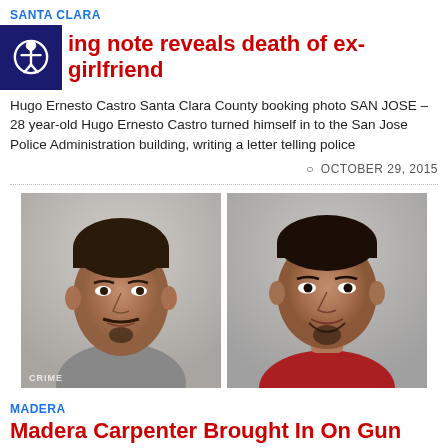SANTA CLARA
ing note reveals death of ex-girlfriend
Hugo Ernesto Castro Santa Clara County booking photo SAN JOSE – 28 year-old Hugo Ernesto Castro turned himself in to the San Jose Police Administration building, writing a letter telling police
OCTOBER 29, 2015
[Figure (photo): Two side-by-side mugshot photos of Hugo Ernesto Castro from Santa Clara County booking]
MADERA
Madera Carpenter Brought In On Gun and Drug...